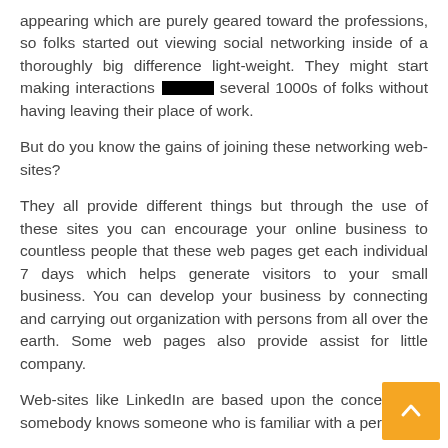appearing which are purely geared toward the professions, so folks started out viewing social networking inside of a thoroughly big difference light-weight. They might start making interactions with several 1000s of folks without having leaving their place of work.
But do you know the gains of joining these networking web-sites?
They all provide different things but through the use of these sites you can encourage your online business to countless people that these web pages get each individual 7 days which helps generate visitors to your small business. You can develop your business by connecting and carrying out organization with persons from all over the earth. Some web pages also provide assist for little company.
Web-sites like LinkedIn are based upon the concept that somebody knows someone who is familiar with a person